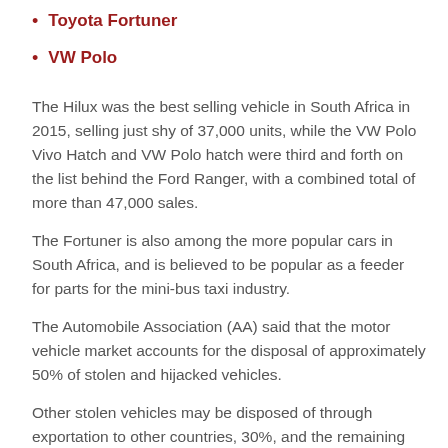Toyota Fortuner
VW Polo
The Hilux was the best selling vehicle in South Africa in 2015, selling just shy of 37,000 units, while the VW Polo Vivo Hatch and VW Polo hatch were third and forth on the list behind the Ford Ranger, with a combined total of more than 47,000 sales.
The Fortuner is also among the more popular cars in South Africa, and is believed to be popular as a feeder for parts for the mini-bus taxi industry.
The Automobile Association (AA) said that the motor vehicle market accounts for the disposal of approximately 50% of stolen and hijacked vehicles.
Other stolen vehicles may be disposed of through exportation to other countries, 30%, and the remaining 20% going to the second-hand parts market.
Older vehicles between seven and 21 years old are at higher risk of theft while vehicles between one and four years are at the highest risk of robbery.